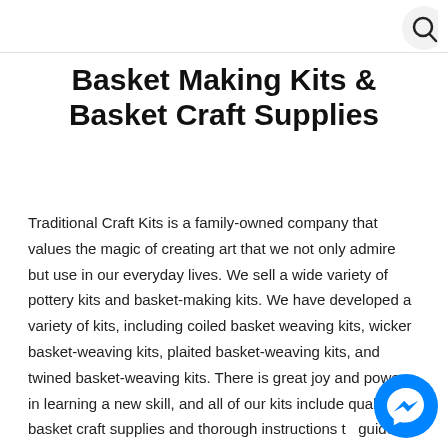Basket Making Kits & Basket Craft Supplies
Traditional Craft Kits is a family-owned company that values the magic of creating art that we not only admire but use in our everyday lives. We sell a wide variety of pottery kits and basket-making kits. We have developed a variety of kits, including coiled basket weaving kits, wicker basket-weaving kits, plaited basket-weaving kits, and twined basket-weaving kits. There is great joy and power in learning a new skill, and all of our kits include quality basket craft supplies and thorough instructions to guide you along the way. We have basket-weaving kits for beginners that will provide the space for culturing patience and